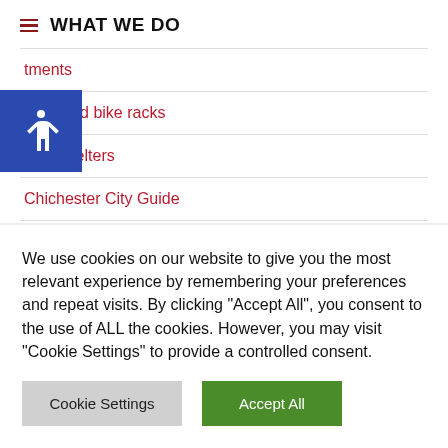WHAT WE DO
...tments
...ches and bike racks
Bus Shelters
Chichester City Guide
City Council Annual Awards
Covid-19 Civic Awards
Consultation on Planning Applications
We use cookies on our website to give you the most relevant experience by remembering your preferences and repeat visits. By clicking "Accept All", you consent to the use of ALL the cookies. However, you may visit "Cookie Settings" to provide a controlled consent.
Cookie Settings | Accept All